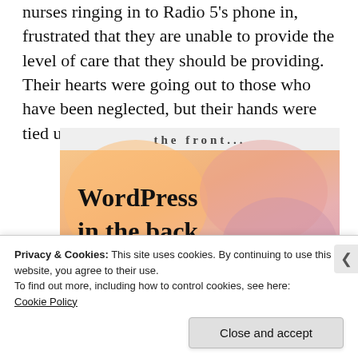nurses ringing in to Radio 5's phone in, frustrated that they are unable to provide the level of care that they should be providing. Their hearts were going out to those who have been neglected, but their hands were tied up in so much other work.
[Figure (illustration): Advertisement banner with colorful pastel bubbles (orange, pink, mauve) on gradient background reading 'WordPress in the back.' with partial header text visible at top.]
Privacy & Cookies: This site uses cookies. By continuing to use this website, you agree to their use.
To find out more, including how to control cookies, see here: Cookie Policy
Close and accept